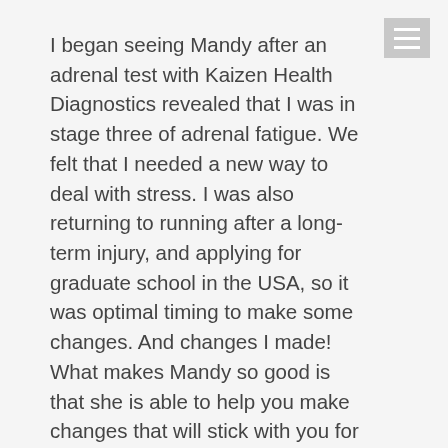I began seeing Mandy after an adrenal test with Kaizen Health Diagnostics revealed that I was in stage three of adrenal fatigue. We felt that I needed a new way to deal with stress. I was also returning to running after a long-term injury, and applying for graduate school in the USA, so it was optimal timing to make some changes. And changes I made! What makes Mandy so good is that she is able to help you make changes that will stick with you for life. Mandy's Mindset for Success Coaching has helped me: reduce my procrastination and other negative perfectionistic traits; taught me techniques to create useful habits which have stuck; taught me meditation in a manner that has been truly effective; helped me understand why I think and behave how I do, which has helped me optimise my behaviours; reduced a lot of negative self-talk; helped to create stress-management techniques; increased my self-esteem and sense of self-worth;